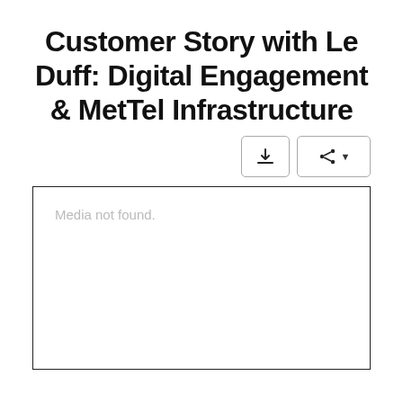Customer Story with Le Duff: Digital Engagement & MetTel Infrastructure
[Figure (screenshot): Toolbar with a download button and a share button with dropdown arrow]
[Figure (other): Media player placeholder box with text 'Media not found.']